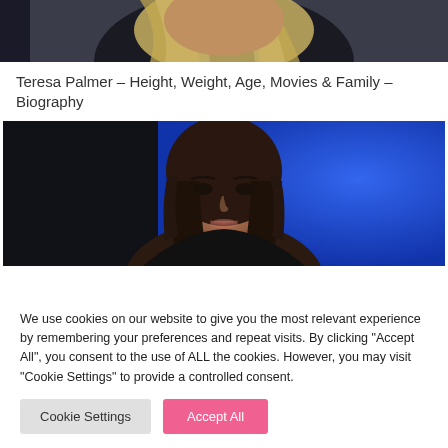[Figure (photo): Top portion of a photo showing a person with long blonde hair against a dark background, cropped to show only the hair/top of head]
Teresa Palmer – Height, Weight, Age, Movies & Family – Biography
[Figure (photo): Photo of a woman with dark hair against a blue background, appearing to be at an event or conference]
We use cookies on our website to give you the most relevant experience by remembering your preferences and repeat visits. By clicking "Accept All", you consent to the use of ALL the cookies. However, you may visit "Cookie Settings" to provide a controlled consent.
Cookie Settings | Accept All